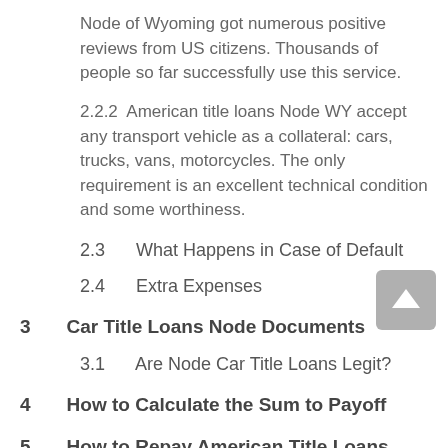Node of Wyoming got numerous positive reviews from US citizens. Thousands of people so far successfully use this service.
2.2.2  American title loans Node WY accept any transport vehicle as a collateral: cars, trucks, vans, motorcycles. The only requirement is an excellent technical condition and some worthiness.
2.3  What Happens in Case of Default
2.4  Extra Expenses
3  Car Title Loans Node Documents
3.1  Are Node Car Title Loans Legit?
4  How to Calculate the Sum to Payoff
5  How to Repay American Title Loans Node in Wyoming WY